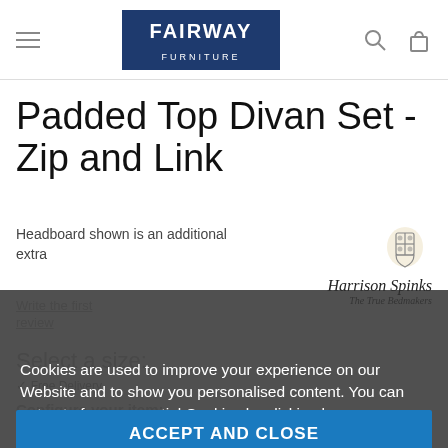FAIRWAY FURNITURE (nav bar with hamburger menu, logo, search and bag icons)
Padded Top Divan Set - Zip and Link
Headboard shown is an additional extra
[Figure (logo): Harrison Spinks brand emblem (crest logo) with text 'Harrison Spinks' and tagline 'The True Bedmakers']
Write the first review
Select a size:
Configure your item:
2 - 2 drawers
Cookies are used to improve your experience on our Website and to show you personalised content. You can opt out of non-essential Cookies by clicking here.
ACCEPT AND CLOSE